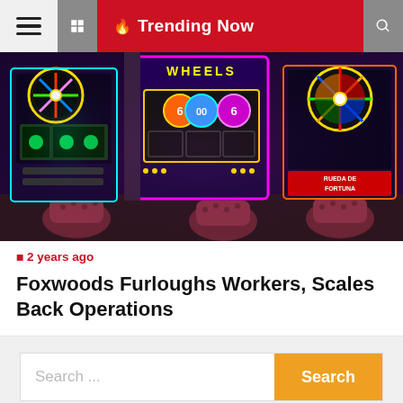☰  ◻  🔥 Trending Now  🔍
[Figure (photo): Row of colorful illuminated casino slot machines with neon lights, spinning wheel displays and red chairs in a casino floor setting]
◻ 2 years ago
Foxwoods Furloughs Workers, Scales Back Operations
Search ...  Search
voiding Hidden Travel  21 Definitions Of What It Mean Be An Attractive Woman